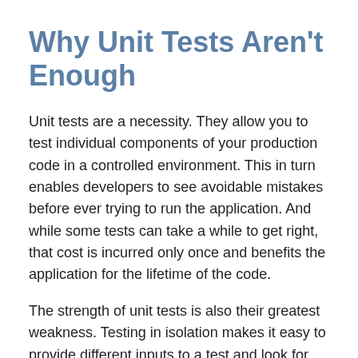Why Unit Tests Aren't Enough
Unit tests are a necessity. They allow you to test individual components of your production code in a controlled environment. This in turn enables developers to see avoidable mistakes before ever trying to run the application. And while some tests can take a while to get right, that cost is incurred only once and benefits the application for the lifetime of the code.
The strength of unit tests is also their greatest weakness. Testing in isolation makes it easy to provide different inputs to a test and look for the